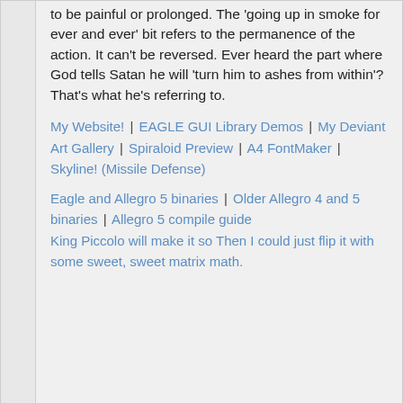to be painful or prolonged. The 'going up in smoke for ever and ever' bit refers to the permanence of the action. It can't be reversed. Ever heard the part where God tells Satan he will 'turn him to ashes from within'? That's what he's referring to.
My Website! | EAGLE GUI Library Demos | My Deviant Art Gallery | Spiraloid Preview | A4 FontMaker | Skyline! (Missile Defense)
Eagle and Allegro 5 binaries | Older Allegro 4 and 5 binaries | Allegro 5 compile guide
King Piccolo will make it so Then I could just flip it with some sweet, sweet matrix math.
Bruce Perry
Member #270
April 2000
Posted on 06/23/2017 10:22 AM
Neil Roy said:
It's just too bad everyone focuses on that one LAST comment of mine and totally ignores everything I wasted my time sharing about what has happened to me.
The last comment is often the one with